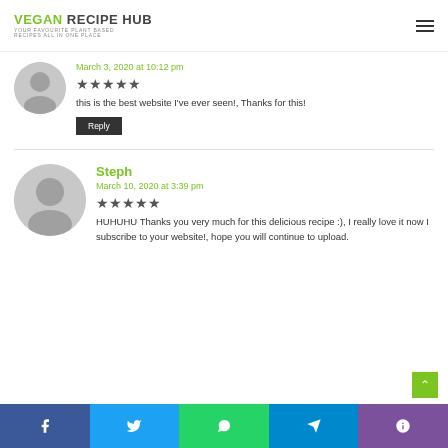VEGAN RECIPE HUB — YOUR FAVOURITE PLANT BASED RECIPES ALL IN ONE PLACE
March 3, 2020 at 10:12 pm
[Figure (other): 5-star rating (filled stars)]
this is the best website I've ever seen!, Thanks for this!
Reply button
Steph
March 10, 2020 at 3:39 pm
[Figure (other): 5-star rating (filled stars)]
HUHUHU Thanks you very much for this delicious recipe :), I really love it now I subscribe to your website!, hope you will continue to upload.
Social share bar: Facebook, Twitter, WhatsApp, Telegram, Viber